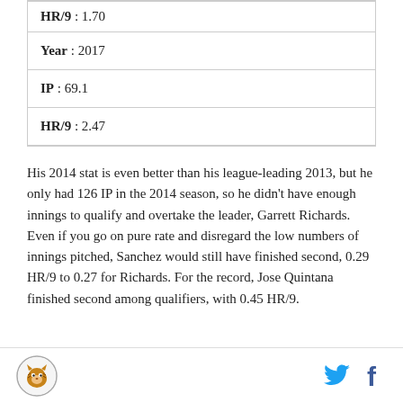| HR/9 : 1.70 |
| Year : 2017 |
| IP : 69.1 |
| HR/9 : 2.47 |
His 2014 stat is even better than his league-leading 2013, but he only had 126 IP in the 2014 season, so he didn't have enough innings to qualify and overtake the leader, Garrett Richards. Even if you go on pure rate and disregard the low numbers of innings pitched, Sanchez would still have finished second, 0.29 HR/9 to 0.27 for Richards. For the record, Jose Quintana finished second among qualifiers, with 0.45 HR/9.
Logo | Twitter | Facebook